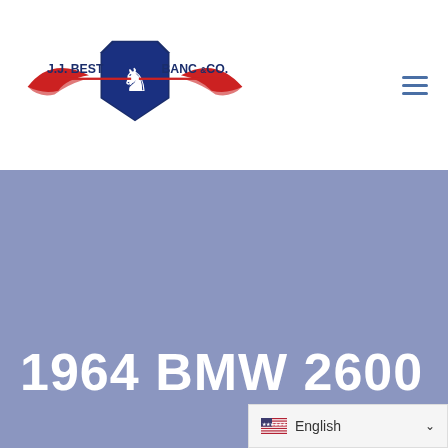[Figure (logo): J.J. Best Banc & Co. logo with shield and wings, red and navy blue]
1964 BMW 2600
English